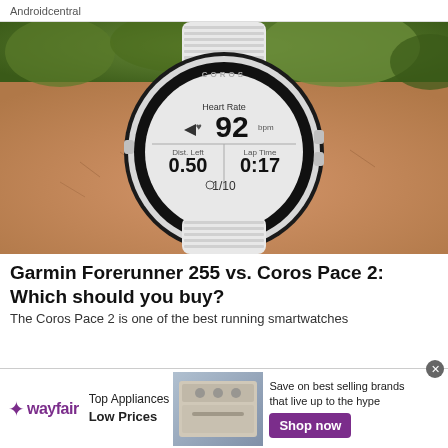Androidcentral
[Figure (photo): A Coros smartwatch worn on a wrist, displaying Heart Rate 92 bpm, Dist. Left 0.50, Lap Time 0:17, and 1/10, with green foliage background.]
Garmin Forerunner 255 vs. Coros Pace 2: Which should you buy?
The Coros Pace 2 is one of the best running smartwatches
[Figure (infographic): Wayfair advertisement banner: Top Appliances Low Prices, Save on best selling brands that live up to the hype, Shop now button, image of a stove/range appliance.]